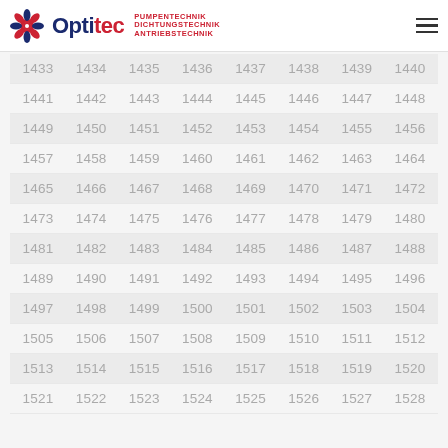Optitec - PUMPENTECHNIK DICHTUNGSTECHNIK ANTRIEBSTECHNIK
1433 1434 1435 1436 1437 1438 1439 1440
1441 1442 1443 1444 1445 1446 1447 1448
1449 1450 1451 1452 1453 1454 1455 1456
1457 1458 1459 1460 1461 1462 1463 1464
1465 1466 1467 1468 1469 1470 1471 1472
1473 1474 1475 1476 1477 1478 1479 1480
1481 1482 1483 1484 1485 1486 1487 1488
1489 1490 1491 1492 1493 1494 1495 1496
1497 1498 1499 1500 1501 1502 1503 1504
1505 1506 1507 1508 1509 1510 1511 1512
1513 1514 1515 1516 1517 1518 1519 1520
1521 1522 1523 1524 1525 1526 1527 1528